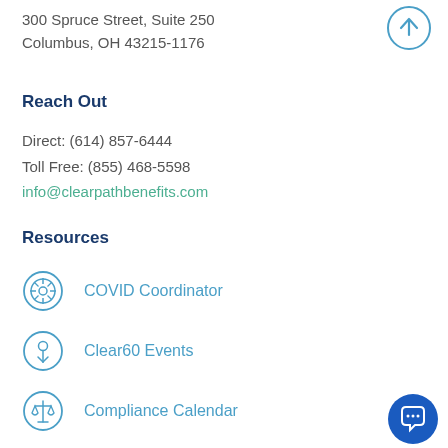300 Spruce Street, Suite 250
Columbus, OH 43215-1176
[Figure (illustration): Circular up-arrow button, blue outline on white background]
Reach Out
Direct: (614) 857-6444
Toll Free: (855) 468-5598
info@clearpathbenefits.com
Resources
COVID Coordinator
Clear60 Events
Compliance Calendar
[Figure (illustration): Solid blue circular chat bubble button in bottom-right corner]